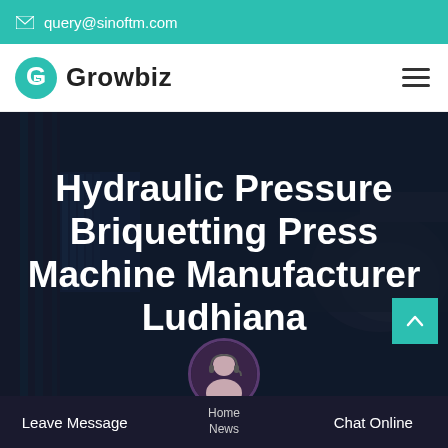✉ query@sinoftm.com
[Figure (logo): Growbiz logo with teal G icon and bold Growbiz text, hamburger menu on right]
Hydraulic Pressure Briquetting Press Machine Manufacturer Ludhiana
[Figure (photo): Dark industrial background with machinery, overlaid with hero title text]
Leave Message   Home | News   Chat Online